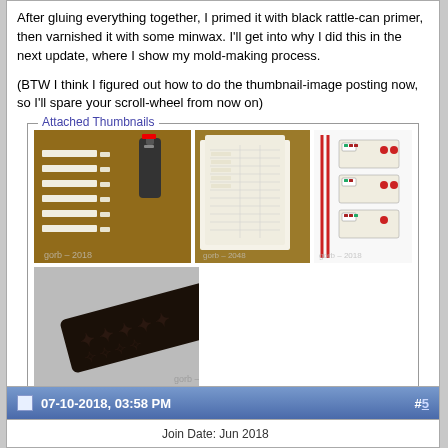After gluing everything together, I primed it with black rattle-can primer, then varnished it with some minwax. I'll get into why I did this in the next update, where I show my mold-making process.
(BTW I think I figured out how to do the thumbnail-image posting now, so I'll spare your scroll-wheel from now on)
[Figure (photo): Attached Thumbnails box containing four thumbnail photos: top-left shows printed labels on brown surface with a bottle, top-middle shows papers and tools on brown surface, top-right shows small game pieces (possibly dominoes or tiles) on white surface, bottom-left shows a dark rectangular object with embossed lettering.]
07-10-2018, 03:58 PM  #5  Join Date: Jun 2018